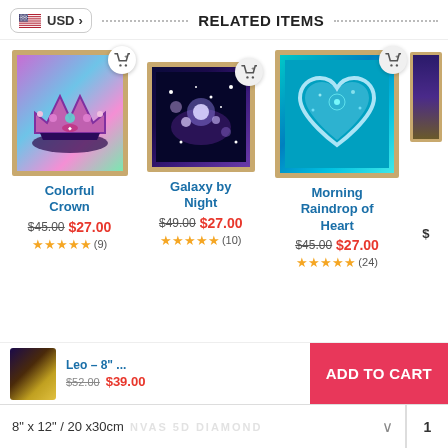USD > RELATED ITEMS
[Figure (photo): Colorful Crown diamond painting product image in golden frame]
Colorful Crown
$45.00 $27.00
★★★★★ (9)
[Figure (photo): Galaxy by Night diamond painting product image in golden frame]
Galaxy by Night
$49.00 $27.00
★★★★★ (10)
[Figure (photo): Morning Raindrop of Heart diamond painting product image in golden frame]
Morning Raindrop of Heart
$45.00 $27.00
★★★★★ (24)
[Figure (photo): Small side product image partially visible]
Leo – 8" ... $52.00 $39.00
ADD TO CART
8" x 12" / 20 x30cm
1